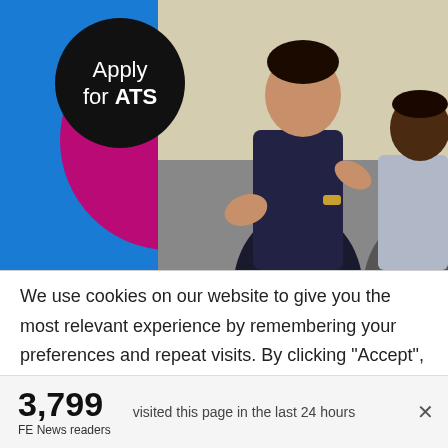[Figure (photo): Promotional image for 'Apply for ATS' with a black circle badge on the left containing the text 'Apply for ATS', overlaid on a blue background with a large magenta circle. On the right, a photo of two men in conversation, one gesturing with his hands.]
We use cookies on our website to give you the most relevant experience by remembering your preferences and repeat visits. By clicking “Accept”, you consent to the use of ALL the cookies. However you may visit Cookie
3,799
FE News readers
visited this page in the last 24 hours